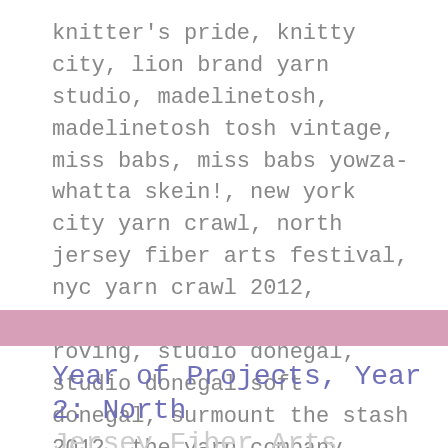knitter's pride, knitty city, lion brand yarn studio, madelinetosh, madelinetosh tosh vintage, miss babs, miss babs yowza-whatta skein!, new york city yarn crawl, north jersey fiber arts festival, nyc yarn crawl 2012, ravelry stash feature, roving, studio donegal, studio donegal soft donegal, surmount the stash 2012, the yarn company, visit to the kantcentrum, yarn crawl, yarn monkey productions, yarn monkey productions supersaki
Year of Projects, Year 2: North Jersey Fiber Arts Festival 2012